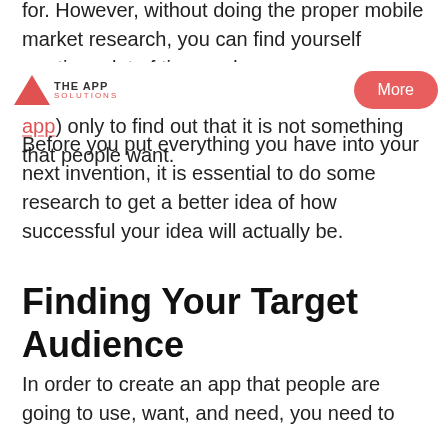for. However, without doing the proper mobile market research, you can find yourself wasting a lot of time and energy on your app (and do not forget about cost to develop an app) only to find out that it is not something that people want.
THE APP SOLUTIONS | More
Before you put everything you have into your next invention, it is essential to do some research to get a better idea of how successful your idea will actually be.
Finding Your Target Audience
In order to create an app that people are going to use, want, and need, you need to